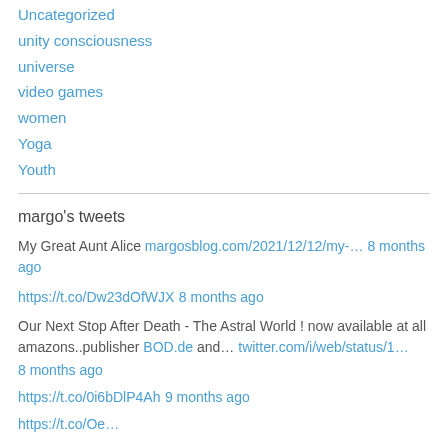Uncategorized
unity consciousness
universe
video games
women
Yoga
Youth
margo's tweets
My Great Aunt Alice margosblog.com/2021/12/12/my-… 8 months ago
https://t.co/Dw23dOfWJX 8 months ago
Our Next Stop After Death - The Astral World ! now available at all amazons..publisher BOD.de and… twitter.com/i/web/status/1… 8 months ago
https://t.co/0i6bDlP4Ah 9 months ago
https://t.co/...